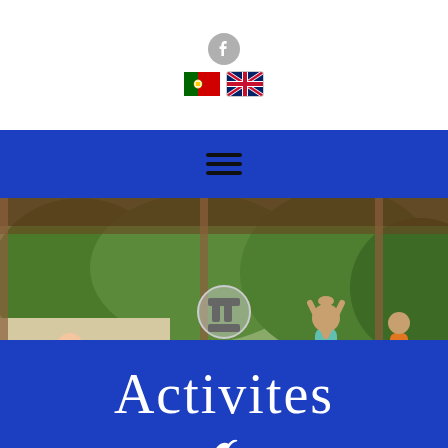[Figure (other): Website header with Facebook icon and two language flags (Portuguese and UK English)]
[Figure (other): Blue navigation bar with hamburger menu icon]
[Figure (photo): Outdoor yoga class on a wooden deck with several people in various yoga poses, surrounded by lush green trees and a rustic pergola roof]
Activites
[Figure (other): Blue circular button with white bird/swift icon at bottom of page]